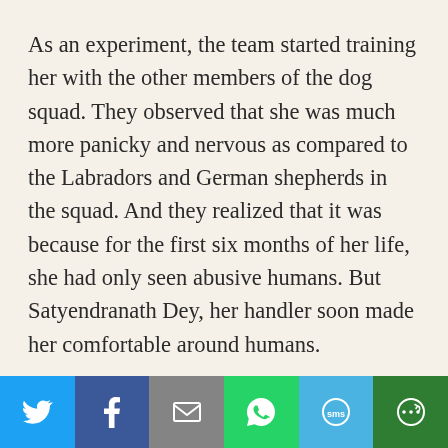As an experiment, the team started training her with the other members of the dog squad. They observed that she was much more panicky and nervous as compared to the Labradors and German shepherds in the squad. And they realized that it was because for the first six months of her life, she had only seen abusive humans. But Satyendranath Dey, her handler soon made her comfortable around humans.
When she started trusting the people around not to harm or abuse her, Asha, as the police named her, steadily excelled in her training. The diet and exercise she received were no different than the other dogs, and within six months, her training to